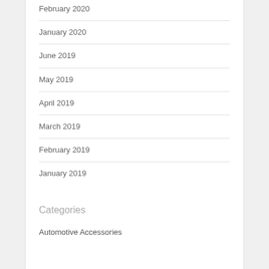February 2020
January 2020
June 2019
May 2019
April 2019
March 2019
February 2019
January 2019
Categories
Automotive Accessories